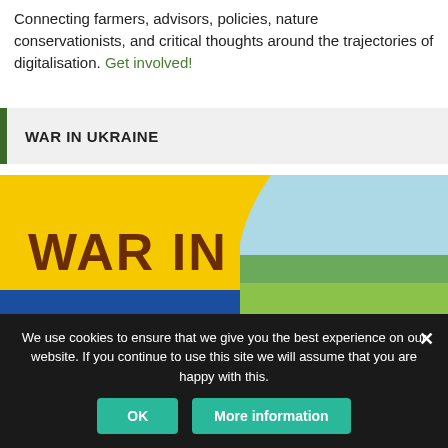Connecting farmers, advisors, policies, nature conservationists, and critical thoughts around the trajectories of digitalisation. Get involved!
WAR IN UKRAINE
[Figure (illustration): A graphic banner with yellow and blue background (Ukrainian flag colors) showing text 'WAR IN' in dark brown bold letters on yellow, and 'UKRAINE' underlined in yellow bold letters on blue. The right side shows a photo of a Ukrainian agricultural landscape with fields and sky.]
We use cookies to ensure that we give you the best experience on our website. If you continue to use this site we will assume that you are happy with this.